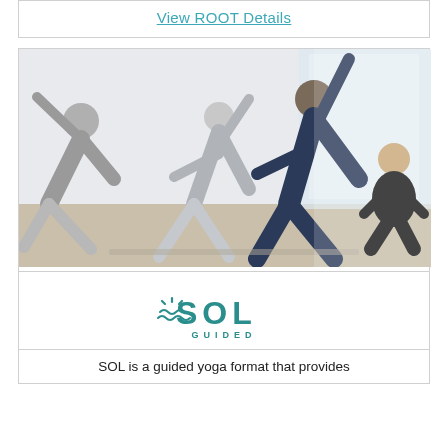View ROOT Details
[Figure (photo): Yoga class with multiple women performing a lateral stretch pose in a bright studio.]
[Figure (logo): SOL GUIDED logo with wave/sun icon]
SOL is a guided yoga format that provides